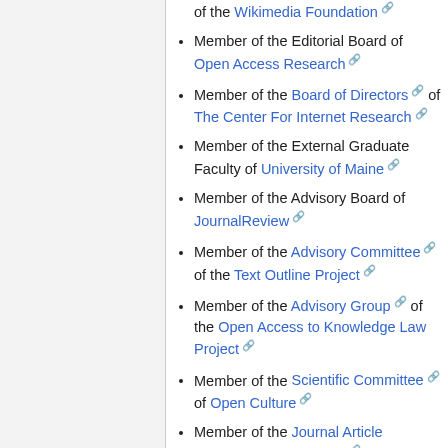of the Wikimedia Foundation
Member of the Editorial Board of Open Access Research
Member of the Board of Directors of The Center For Internet Research
Member of the External Graduate Faculty of University of Maine
Member of the Advisory Board of JournalReview
Member of the Advisory Committee of the Text Outline Project
Member of the Advisory Group of the Open Access to Knowledge Law Project
Member of the Scientific Committee of Open Culture
Member of the Journal Article Versions Review Group of the